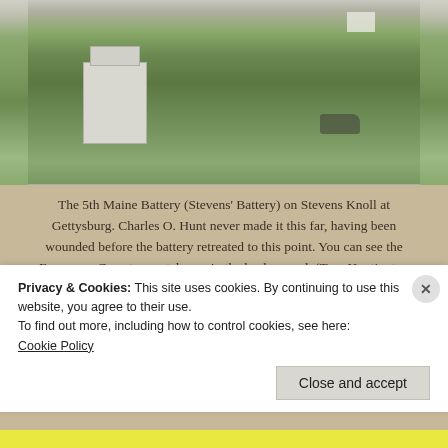[Figure (photo): Photograph of the 5th Maine Battery monument on Stevens Knoll at Gettysburg. A stone monument base is visible on a green grassy field, with a cannon silhouette visible in the background to the right, and a white house/gatehouse visible in the upper right background.]
The 5th Maine Battery (Stevens' Battery) on Stevens Knoll at Gettysburg. Charles O. Hunt never made it this far, having been wounded before the battery retreated to this point. You can see the Evergreen Cemetery gatehouse in the background. (Tom Huntington photo)
One of the joys of historical research is coming across
Privacy & Cookies: This site uses cookies. By continuing to use this website, you agree to their use.
To find out more, including how to control cookies, see here:
Cookie Policy